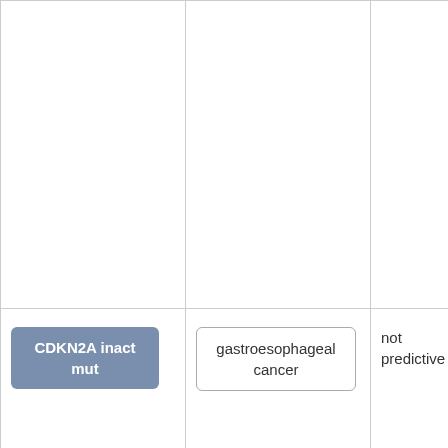| Biomarker | Cancer Type | Predictive |  |
| --- | --- | --- | --- |
|  |  |  |  |
| CDKN2A inact mut | gastroesophageal cancer | not predictive |  |